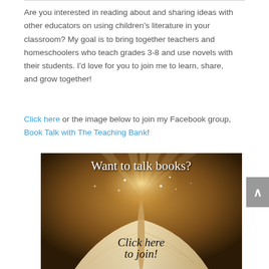Are you interested in reading about and sharing ideas with other educators on using children's literature in your classroom? My goal is to bring together teachers and homeschoolers who teach grades 3-8 and use novels with their students. I'd love for you to join me to learn, share, and grow together!
Click here or the image below to join my Facebook group, Book Talk with The Teaching Bank!
[Figure (illustration): Promotional image with dark brown background showing an open book with light rays emanating upward, sparkles, and text reading 'Want to talk books?' at the top and 'Click here to join!' in the center.]